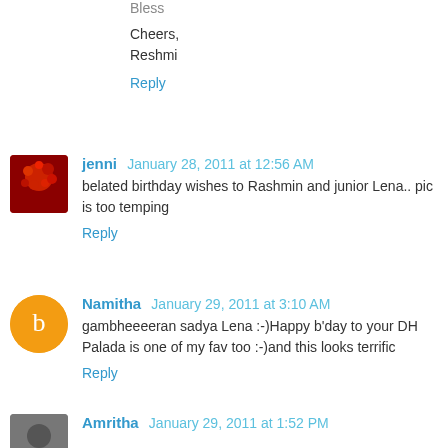Bless

Cheers,
Reshmi
Reply
jenni  January 28, 2011 at 12:56 AM
belated birthday wishes to Rashmin and junior Lena.. pic is too temping
Reply
Namitha  January 29, 2011 at 3:10 AM
gambheeeeran sadya Lena :-)Happy b'day to your DH Palada is one of my fav too :-)and this looks terrific
Reply
Amritha  January 29, 2011 at 1:52 PM